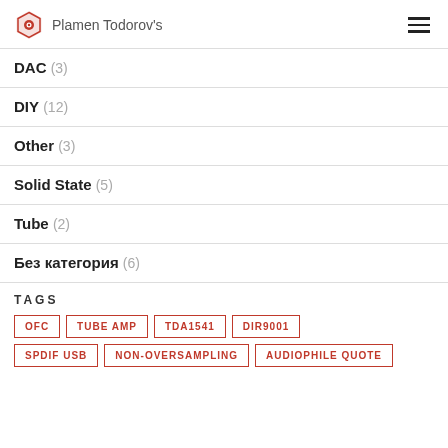Plamen Todorov's
DAC (3)
DIY (12)
Other (3)
Solid State (5)
Tube (2)
Без категория (6)
TAGS
OFC
TUBE AMP
TDA1541
DIR9001
SPDIF USB
NON-OVERSAMPLING
AUDIOPHILE QUOTE